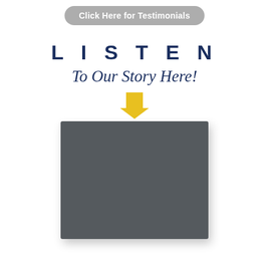Click Here for Testimonials
LISTEN
To Our Story Here!
[Figure (illustration): Yellow downward-pointing arrow]
[Figure (other): Dark gray rectangular video placeholder block]